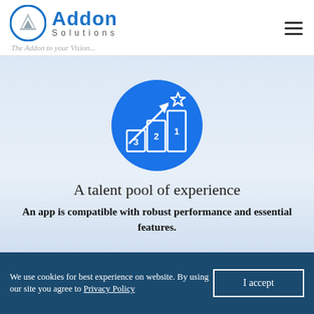[Figure (logo): Addon Solutions logo: blue circle with white A chevron icon, bold blue 'Addon' text, grey 'Solutions' spaced text below]
The Addon to your Vision...
[Figure (illustration): Blue circle icon with white bar chart (labeled 3, 2, 1), an upward arrow and a star above bars, representing a talent/performance ranking]
A talent pool of experience
An app is compatible with robust performance and essential features.
We use cookies for best experience on website. By using our site you agree to Privacy Policy  I accept